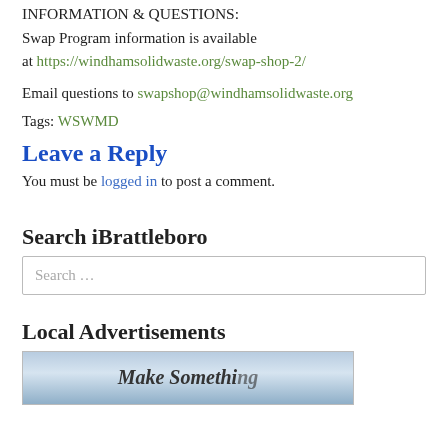INFORMATION & QUESTIONS:
Swap Program information is available at https://windhamsolidwaste.org/swap-shop-2/
Email questions to swapshop@windhamsolidwaste.org
Tags: WSWMD
Leave a Reply
You must be logged in to post a comment.
Search iBrattleboro
Search …
Local Advertisements
[Figure (photo): Advertisement image with text 'Make Something...' on a blue/sky background]